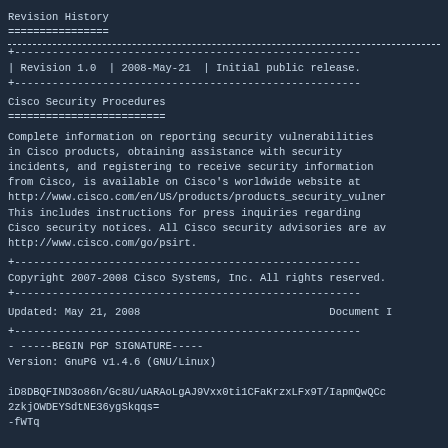Revision History
================
| Revision | Date | Description |
| --- | --- | --- |
| Revision 1.0 | 2008-May-21 | Initial public release. |
Cisco Security Procedures
=========================
Complete information on reporting security vulnerabilities in Cisco products, obtaining assistance with security incidents, and registering to receive security information from Cisco, is available on Cisco's worldwide website at http://www.cisco.com/en/US/products/products_security_vulner This includes instructions for press inquiries regarding Cisco security notices. All Cisco security advisories are av http://www.cisco.com/go/psirt.
Copyright 2007-2008 Cisco Systems, Inc. All rights reserved.
Updated: May 21, 2008                              Document I
- -----BEGIN PGP SIGNATURE-----
Version: GnuPG v1.4.6 (GNU/Linux)

iD8DBQFIND3o86n/Gc8U/uARAoLgAJ9Vxx0ti1CFaKrzxLFx9T/IapmQwQCc
2zkjOWDEYSdtNE36ygSkqqs=
-fWTq